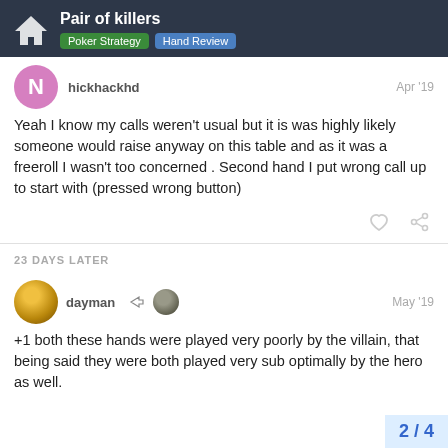Pair of killers — Poker Strategy, Hand Review
hickhackhd — Apr '19
Yeah I know my calls weren't usual but it is was highly likely someone would raise anyway on this table and as it was a freeroll I wasn't too concerned . Second hand I put wrong call up to start with (pressed wrong button)
23 DAYS LATER
dayman — May '19
+1 both these hands were played very poorly by the villain, that being said they were both played very sub optimally by the hero as well.
2 / 4